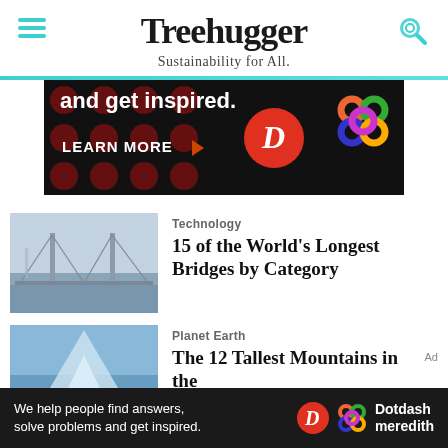Treehugger — Sustainability for All.
[Figure (screenshot): Advertisement banner: dark background with red dots, 'and get inspired.' text, LEARN MORE button, Dotdash Meredith logos]
Technology
15 of the World's Longest Bridges by Category
[Figure (photo): Suspension bridge over foggy water, muted grey-blue tones]
Planet Earth
The 12 Tallest Mountains in the
[Figure (photo): Blue ice mountain scene]
We help people find answers, solve problems and get inspired. Dotdash meredith